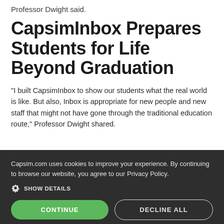Professor Dwight said.
CapsimInbox Prepares Students for Life Beyond Graduation
“I built CapsimInbox to show our students what the real world is like. But also, Inbox is appropriate for new people and new staff that might not have gone through the traditional education route,” Professor Dwight shared.
Capsim.com uses cookies to improve your experience. By continuing to browse our website, you agree to our Privacy Policy.
SHOW DETAILS
CONTINUE
DECLINE ALL